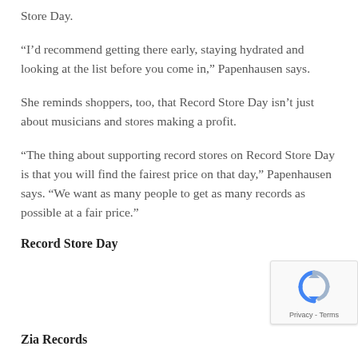Store Day.
“I’d recommend getting there early, staying hydrated and looking at the list before you come in,” Papenhausen says.
She reminds shoppers, too, that Record Store Day isn’t just about musicians and stores making a profit.
“The thing about supporting record stores on Record Store Day is that you will find the fairest price on that day,” Papenhausen says. “We want as many people to get as many records as possible at a fair price.”
Record Store Day
[Figure (other): reCAPTCHA badge with rotating arrows icon and Privacy - Terms text]
Zia Records